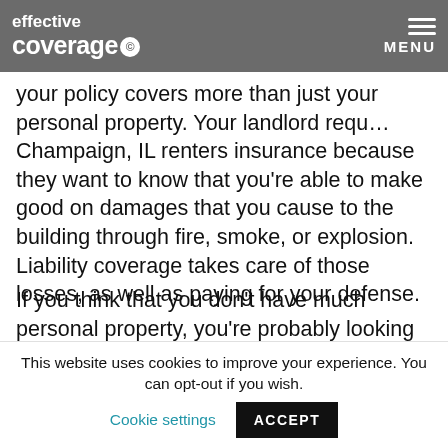effective coverage | MENU
your policy covers more than just your personal property. Your landlord requ... Champaign, IL renters insurance because they want to know that you're able to make good on damages that you cause to the building through fire, smoke, or explosion. Liability coverage takes care of those losses, as well as paying for your defense.
If you think that you don't have much personal property, you're probably looking at in terms of the actual cash value of your property. You'll want to consider the replacement cost of everything, because that's what your policy will pay to replace your
This website uses cookies to improve your experience. You can opt-out if you wish.  Cookie settings  ACCEPT